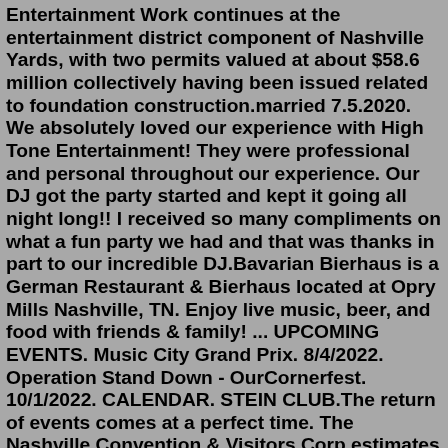Entertainment Work continues at the entertainment district component of Nashville Yards, with two permits valued at about $58.6 million collectively having been issued related to foundation construction.married 7.5.2020. We absolutely loved our experience with High Tone Entertainment! They were professional and personal throughout our experience. Our DJ got the party started and kept it going all night long!! I received so many compliments on what a fun party we had and that was thanks in part to our incredible DJ.Bavarian Bierhaus is a German Restaurant & Bierhaus located at Opry Mills Nashville, TN. Enjoy live music, beer, and food with friends & family! ... UPCOMING EVENTS. Music City Grand Prix. 8/4/2022. Operation Stand Down - OurCornerfest. 10/1/2022. CALENDAR. STEIN CLUB.The return of events comes at a perfect time. The Nashville Convention & Visitors Corp estimates that the city lost $4.5 billion in visitor spending in 2020 due to the pandemic. While the back ...Fathom Events' Studio Ghibli Fest 2022: Kiki's Delivery